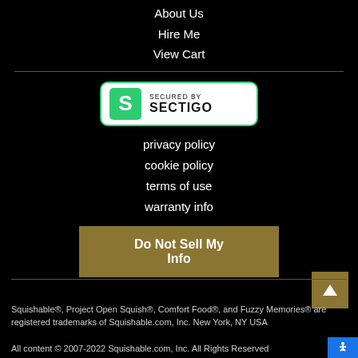About Us
Hire Me
View Cart
[Figure (logo): Secured by Sectigo badge with green S logo and text 'SECURED BY SECTIGO']
privacy policy
cookie policy
terms of use
warranty info
Do Not Sell My Info
Squishable®, Project Open Squish®, Comfort Food®, and Fuzzy Memories® are registered trademarks of Squishable.com, Inc. New York, NY USA
All content © 2007-2022 Squishable.com, Inc. All Rights Reserved